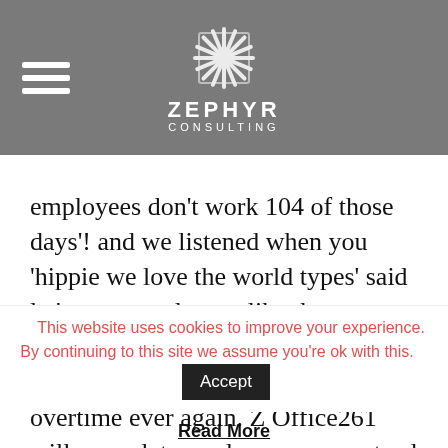[Figure (logo): Zephyr Consulting logo with stylized snowflake/star icon and text 'ZEPHYR CONSULTING' on grey header bar]
employees don't work 104 of those days'! and we listened when you 'hippie we love the world types' said let's treat employees like they are humans and make sure they don't ever have to work weekends or overtime ever again. Z Office261 will never let you down – guaranteed just like many of your employees to never work overtime or weekends! Rest assured not one email
This website uses cookies to improve your experience. By continuing to this site we assume you're ok with this.
Read More